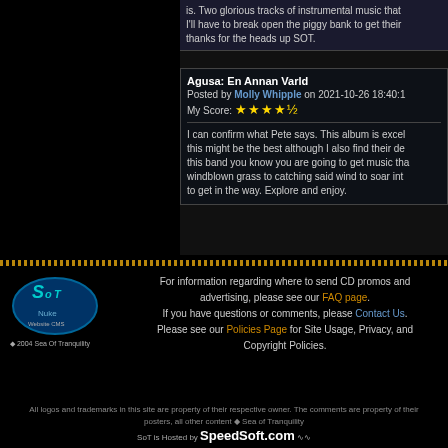is. Two glorious tracks of instrumental music that I'll have to break open the piggy bank to get their thanks for the heads up SOT.
Agusa: En Annan Varld
Posted by Molly Whipple on 2021-10-26 18:40:1
My Score: ★★★★½
I can confirm what Pete says. This album is excel this might be the best although I also find their de this band you know you are going to get music tha windblown grass to catching said wind to soar int to get in the way. Explore and enjoy.
For information regarding where to send CD promos and advertising, please see our FAQ page. If you have questions or comments, please Contact Us. Please see our Policies Page for Site Usage, Privacy, and Copyright Policies.
All logos and trademarks in this site are property of their respective owner. The comments are property of their posters, all other content ◆ Sea of Tranquility
SoT is Hosted by SpeedSoft.com